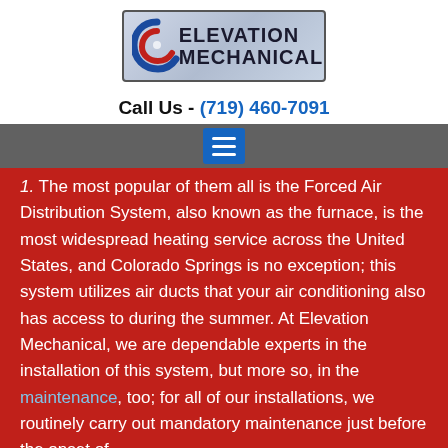[Figure (logo): Elevation Mechanical company logo with swirl graphic and company name text]
Call Us - (719) 460-7091
[Figure (other): Navigation hamburger menu button on gray bar]
The most popular of them all is the Forced Air Distribution System, also known as the furnace, is the most widespread heating service across the United States, and Colorado Springs is no exception; this system utilizes air ducts that your air conditioning also has access to during the summer. At Elevation Mechanical, we are dependable experts in the installation of this system, but more so, in the maintenance, too; for all of our installations, we routinely carry out mandatory maintenance just before the onset of